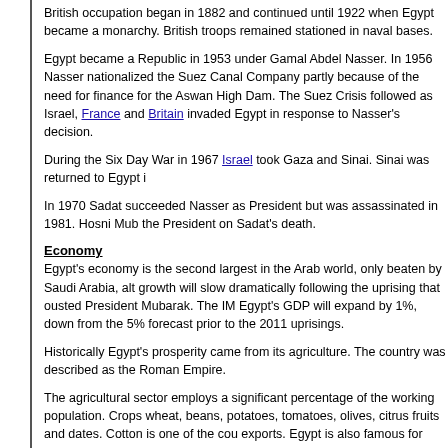British occupation began in 1882 and continued until 1922 when Egypt became a monarchy. British troops remained stationed in naval bases.
Egypt became a Republic in 1953 under Gamal Abdel Nasser. In 1956 Nasser nationalized the Suez Canal Company partly because of the need for finance for the Aswan High Dam. The Suez Crisis followed as Israel, France and Britain invaded Egypt in response to Nasser's decision.
During the Six Day War in 1967 Israel took Gaza and Sinai. Sinai was returned to Egypt i...
In 1970 Sadat succeeded Nasser as President but was assassinated in 1981. Hosni Mubarak became the President on Sadat's death.
Economy
Egypt's economy is the second largest in the Arab world, only beaten by Saudi Arabia, although growth will slow dramatically following the uprising that ousted President Mubarak. The IMF estimates Egypt's GDP will expand by 1%, down from the 5% forecast prior to the 2011 uprisings.
Historically Egypt's prosperity came from its agriculture. The country was described as the breadbasket of the Roman Empire.
The agricultural sector employs a significant percentage of the working population. Crops include wheat, beans, potatoes, tomatoes, olives, citrus fruits and dates. Cotton is one of the country's main exports. Egypt is also famous for breeding Arabian horses. The country's coastline, the Nile and Lake Nasser are important fisheries.
Egypt has large reserves of oil and natural gas. Other natural resources are gypsum, iron ore, limestone, manganese, phosphates and zinc.
Petroleum products are important exports followed by cotton and textiles. Other industries include cement, construction, chemicals, pharmaceuticals, light manufactures and food processing. Handicrafts include carvings and ornaments, rugs, carpets and jewellery.
Tourism is an important source of foreign exchange. (2011)
Arts
Sculpture, wall paintings and carvings of ancient Egypt reached a high degree of sophistication...